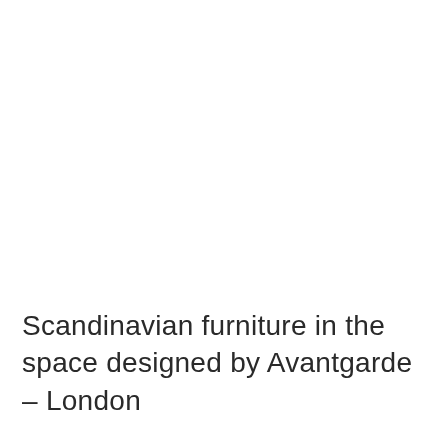Scandinavian furniture in the space designed by Avantgarde – London